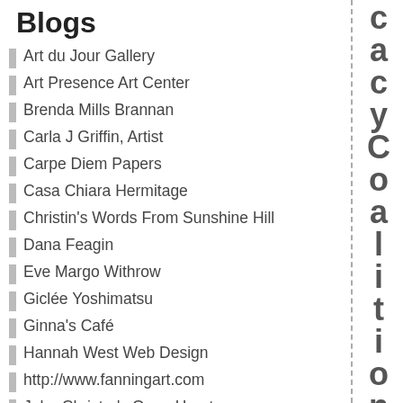Blogs
Art du Jour Gallery
Art Presence Art Center
Brenda Mills Brannan
Carla J Griffin, Artist
Carpe Diem Papers
Casa Chiara Hermitage
Christin's Words From Sunshine Hill
Dana Feagin
Eve Margo Withrow
Giclée Yoshimatsu
Ginna's Café
Hannah West Web Design
http://www.fanningart.com
John Christer's Open Heart
Lacey River Mixed Media *Art*